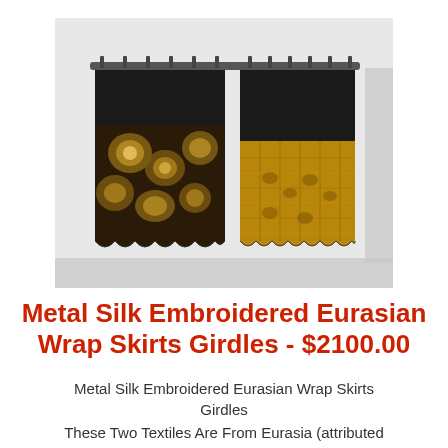[Figure (photo): Two silk embroidered wrap skirts / girdles hanging on a rod. Left panel: black fabric with gold/brown floral embroidery pattern. Right panel: black upper portion with a wide gold/yellow ornate brocade lower band. Both hanging from a horizontal metal rod against a white wall.]
Metal Silk Embroidered Eurasian Wrap Skirts Girdles - $2100.00
Metal Silk Embroidered Eurasian Wrap Skirts Girdles
These Two Textiles Are From Eurasia (attributed